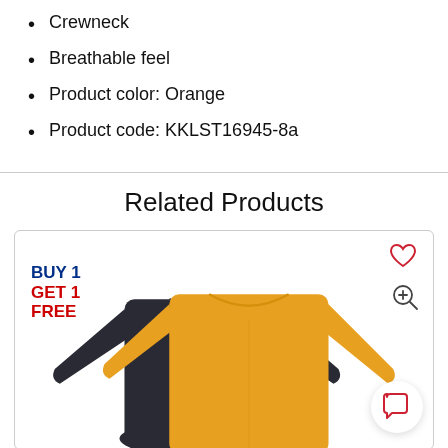Crewneck
Breathable feel
Product color: Orange
Product code: KKLST16945-8a
Related Products
[Figure (photo): Product card showing two crewneck long-sleeve shirts (one dark gray, one mustard/golden yellow) with a BUY1 GET1 FREE badge in the top left, a heart wishlist icon and zoom icon on the top right, and a chat bubble icon on the bottom right.]